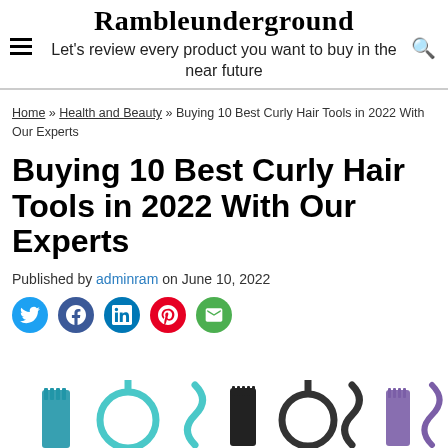Rambleunderground
Let's review every product you want to buy in the near future
Home » Health and Beauty » Buying 10 Best Curly Hair Tools in 2022 With Our Experts
Buying 10 Best Curly Hair Tools in 2022 With Our Experts
Published by adminram on June 10, 2022
[Figure (illustration): Row of curly hair tool icons including combs, curling wands, and hair picks in teal, black, and purple colors]
[Figure (infographic): Social share icons: Twitter (blue bird), Facebook (blue f), LinkedIn (blue in), Pinterest (red P), Email (green envelope)]